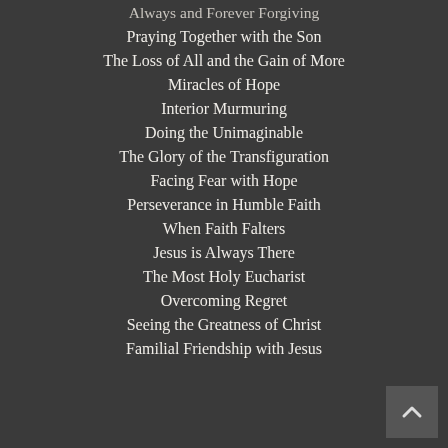Always and Forever Forgiving
Praying Together with the Son
The Loss of All and the Gain of More
Miracles of Hope
Interior Murmuring
Doing the Unimaginable
The Glory of the Transfiguration
Facing Fear with Hope
Perseverance in Humble Faith
When Faith Falters
Jesus is Always There
The Most Holy Eucharist
Overcoming Regret
Seeing the Greatness of Christ
Familial Friendship with Jesus